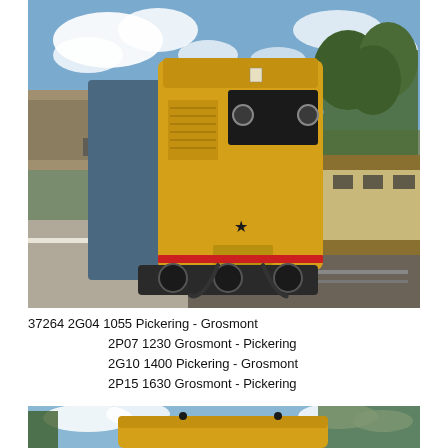[Figure (photo): A yellow British Rail Class 37 diesel locomotive (37264) at a heritage railway station platform, facing the camera. The locomotive is painted in yellow with blue/grey body. A platform with people visible on the left, and another vintage carriage on the right track. Trees and cloudy blue sky in background.]
37264 2G04 1055 Pickering - Grosmont
     2P07 1230 Grosmont - Pickering
     2G10 1400 Pickering - Grosmont
     2P15 1630 Grosmont - Pickering
[Figure (photo): Partial view of another yellow locomotive at a station, visible from the top/front, with trees and blue sky in background. Image is cropped at the bottom of the page.]